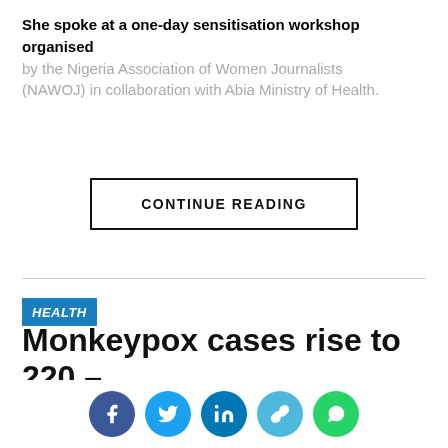She spoke at a one-day sensitisation workshop organised by the Nigeria Association of Women Journalists (NAWOJ) in collaboration with Abia Ministry of Health.
CONTINUE READING
HEALTH
Monkeypox cases rise to 220 – NCDC
[Figure (photo): Grayscale close-up photograph related to monkeypox skin lesions]
[Figure (other): Social media sharing icons: Facebook, Twitter, LinkedIn, Link, WhatsApp]